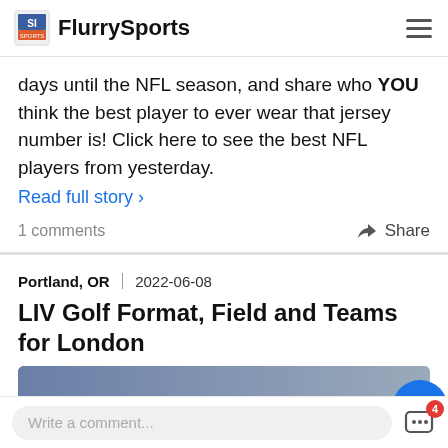FlurrySports
days until the NFL season, and share who YOU think the best player to ever wear that jersey number is! Click here to see the best NFL players from yesterday.
Read full story >
1 comments
Share
Portland, OR  |  2022-06-08
LIV Golf Format, Field and Teams for London
Write a comment...